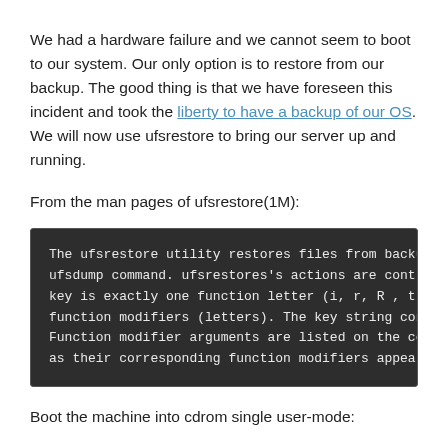We had a hardware failure and we cannot seem to boot to our system. Our only option is to restore from our backup. The good thing is that we have foreseen this incident and took the liberty to have a backup of our OS. We will now use ufsrestore to bring our server up and running.
From the man pages of ufsrestore(1M):
[Figure (screenshot): Dark terminal/code block showing man page text for ufsrestore utility. Text reads: 'The ufsrestore utility restores files from backup me ufsdump command. ufsrestores's actions are controlle key is exactly one function letter (i, r, R , t, or function modifiers (letters). The key string contain Function modifier arguments are listed on the commar as their corresponding function modifiers appear in']
Boot the machine into cdrom single user-mode: